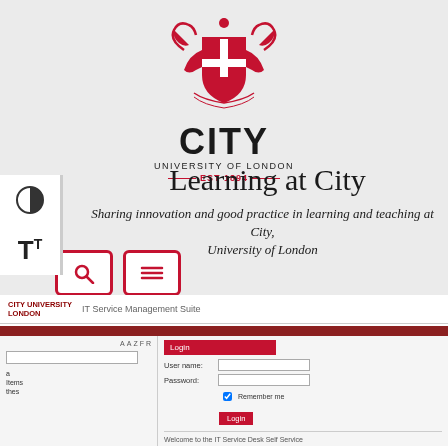[Figure (logo): City University of London crest logo with red heraldic shield and supporters, below the text CITY UNIVERSITY OF LONDON EST 1894]
Learning at City
Sharing innovation and good practice in learning and teaching at City, University of London
[Figure (screenshot): Screenshot of City University London IT Service Management Suite login page with red header bar, login form with User name and Password fields, Remember me checkbox, and Login button. Welcome text at the bottom.]